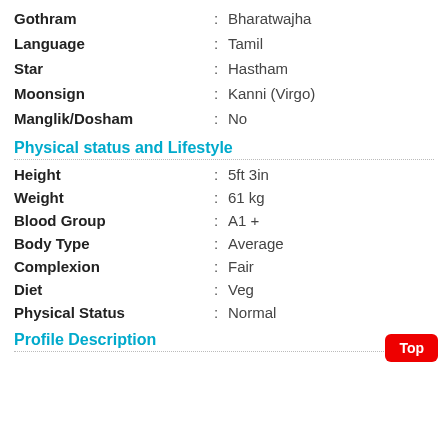Gothram : Bharatwajha
Language : Tamil
Star : Hastham
Moonsign : Kanni (Virgo)
Manglik/Dosham : No
Physical status and Lifestyle
Height : 5ft 3in
Weight : 61 kg
Blood Group : A1 +
Body Type : Average
Complexion : Fair
Diet : Veg
Physical Status : Normal
Profile Description